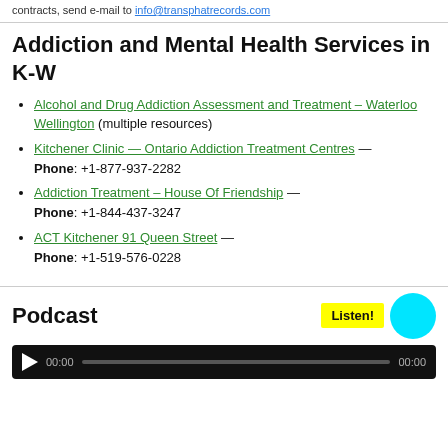contracts, send e-mail to info@transphatrecords.com
Addiction and Mental Health Services in K-W
Alcohol and Drug Addiction Assessment and Treatment – Waterloo Wellington (multiple resources)
Kitchener Clinic — Ontario Addiction Treatment Centres — Phone: +1-877-937-2282
Addiction Treatment – House Of Friendship — Phone: +1-844-437-3247
ACT Kitchener 91 Queen Street — Phone: +1-519-576-0228
Podcast
[Figure (other): Audio player with play button, 00:00 start time, progress bar, 00:00 end time on dark background]